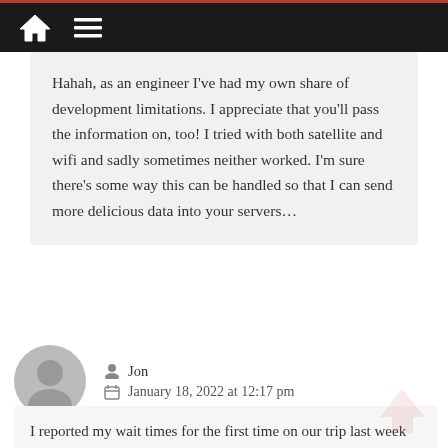Navigation bar with home and menu icons
Hahah, as an engineer I've had my own share of development limitations. I appreciate that you'll pass the information on, too! I tried with both satellite and wifi and sadly sometimes neither worked. I'm sure there's some way this can be handled so that I can send more delicious data into your servers…
Jon
January 18, 2022 at 12:17 pm
I reported my wait times for the first time on our trip last week (1-10-22 10 1-15-22).
I had to use the trick of adding in a dining reservation near my lightning la...